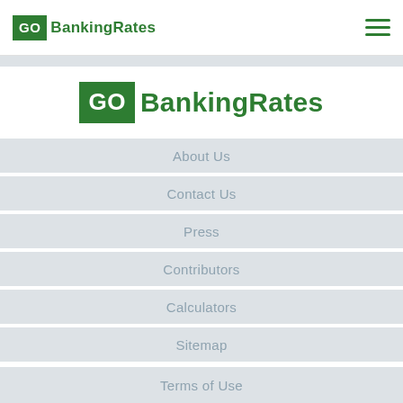GoBankingRates
[Figure (logo): GoBankingRates logo centered on white background]
About Us
Contact Us
Press
Contributors
Calculators
Sitemap
Terms of Use
Privacy Policy
Advertiser Disclosure
Email Opt Out